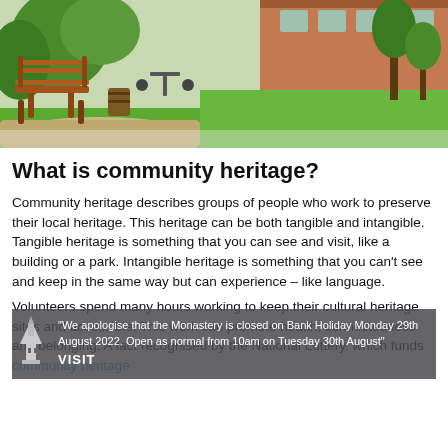[Figure (photo): Outdoor garden/courtyard scene with a wooden bench on the left, gravel path, green lawn, and brick building in background with trees and chairs visible]
What is community heritage?
Community heritage describes groups of people who work to preserve their local heritage. This heritage can be both tangible and intangible. Tangible heritage is something that you can see and visit, like a building or a park. Intangible heritage is something that you can't see and keep in the same way but can experience – like language.
Volunteers spend many hours working to keep their cultural heritage sites and accessible. This work can promote health, connectedness and belonging. A fact recognised by the National Lottery, which funds community heritage
**We apologise that the Monastery is closed on Bank Holiday Monday 29th August 2022. Open as normal from 10am on Tuesday 30th August**
VISIT